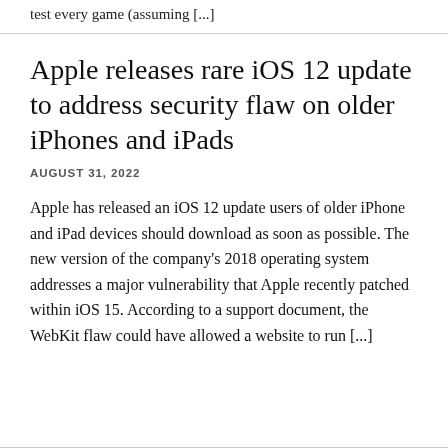test every game (assuming [...]
Apple releases rare iOS 12 update to address security flaw on older iPhones and iPads
AUGUST 31, 2022
Apple has released an iOS 12 update users of older iPhone and iPad devices should download as soon as possible. The new version of the company's 2018 operating system addresses a major vulnerability that Apple recently patched within iOS 15. According to a support document, the WebKit flaw could have allowed a website to run [...]